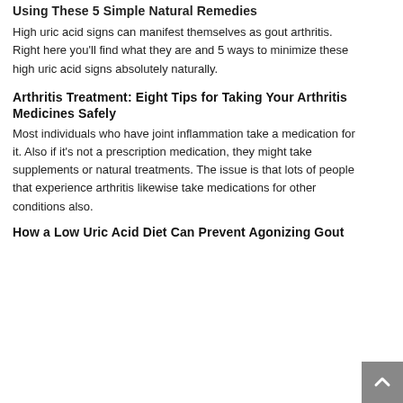Using These 5 Simple Natural Remedies
High uric acid signs can manifest themselves as gout arthritis. Right here you'll find what they are and 5 ways to minimize these high uric acid signs absolutely naturally.
Arthritis Treatment: Eight Tips for Taking Your Arthritis Medicines Safely
Most individuals who have joint inflammation take a medication for it. Also if it's not a prescription medication, they might take supplements or natural treatments. The issue is that lots of people that experience arthritis likewise take medications for other conditions also.
How a Low Uric Acid Diet Can Prevent Agonizing Gout